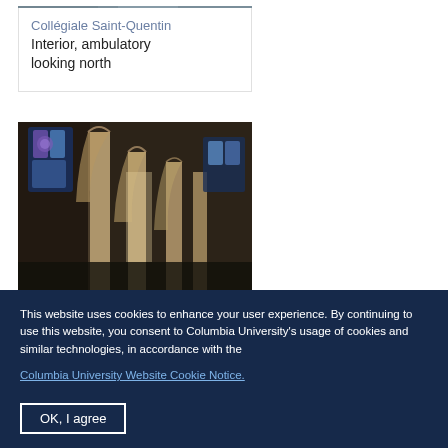[Figure (photo): Top portion of a photo of Collégiale Saint-Quentin interior, ambulatory looking north — partially cropped at top of page]
Collégiale Saint-Quentin
Interior, ambulatory looking north
[Figure (photo): Interior of Collégiale Saint-Quentin showing Gothic arches, columns, and stained glass windows, ambulatory looking north]
This website uses cookies to enhance your user experience. By continuing to use this website, you consent to Columbia University's usage of cookies and similar technologies, in accordance with the Columbia University Website Cookie Notice.
OK, I agree